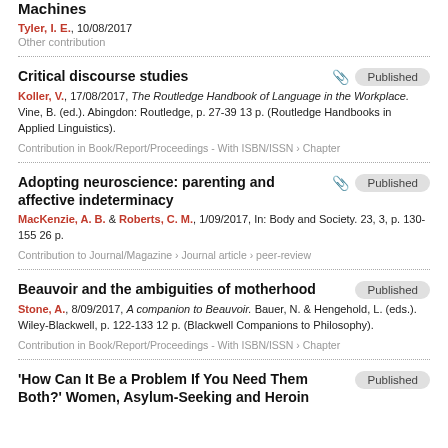Machines
Tyler, I. E., 10/08/2017
Other contribution
Critical discourse studies
Koller, V., 17/08/2017, The Routledge Handbook of Language in the Workplace. Vine, B. (ed.). Abingdon: Routledge, p. 27-39 13 p. (Routledge Handbooks in Applied Linguistics).
Contribution in Book/Report/Proceedings - With ISBN/ISSN › Chapter
Adopting neuroscience: parenting and affective indeterminacy
MacKenzie, A. B. & Roberts, C. M., 1/09/2017, In: Body and Society. 23, 3, p. 130-155 26 p.
Contribution to Journal/Magazine › Journal article › peer-review
Beauvoir and the ambiguities of motherhood
Stone, A., 8/09/2017, A companion to Beauvoir. Bauer, N. & Hengehold, L. (eds.). Wiley-Blackwell, p. 122-133 12 p. (Blackwell Companions to Philosophy).
Contribution in Book/Report/Proceedings - With ISBN/ISSN › Chapter
'How Can It Be a Problem If You Need Them Both?' Women, Asylum-Seeking and Heroin